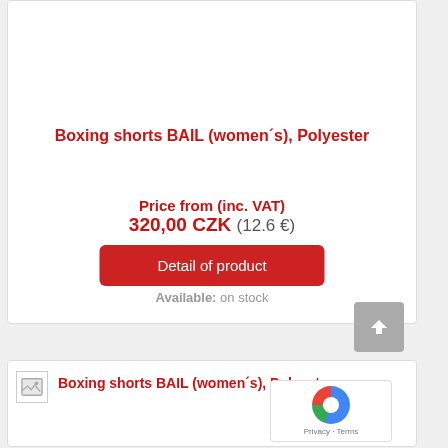Boxing shorts BAIL (women´s), Polyester
Price from (inc. VAT)
320,00 CZK (12.6 €)
Detail of product
Available: on stock
Boxing shorts BAIL (women´s), Polyester